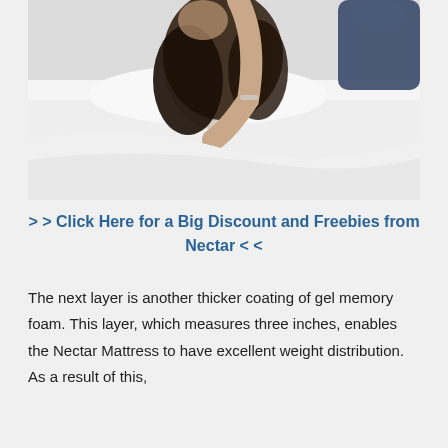[Figure (photo): Woman lying on a white bed, dark hair spread out, arm raised, wearing a bracelet; another person visible in background in dark clothing]
>> Click Here for a Big Discount and Freebies from Nectar <<
The next layer is another thicker coating of gel memory foam. This layer, which measures three inches, enables the Nectar Mattress to have excellent weight distribution. As a result of this,